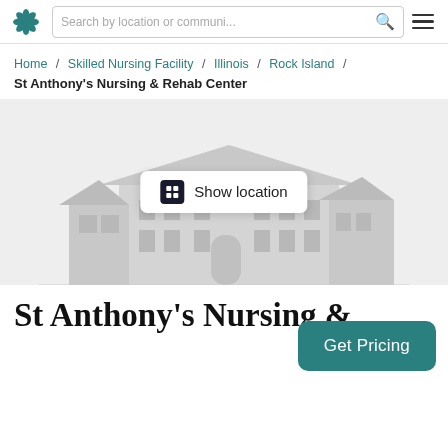Search by location or communi...
Home / Skilled Nursing Facility / Illinois / Rock Island / St Anthony's Nursing & Rehab Center
[Figure (illustration): Gray illustrated building/facility with a 'Show location' button overlay on a light gray background]
St Anthony's Nursing &
Get Pricing